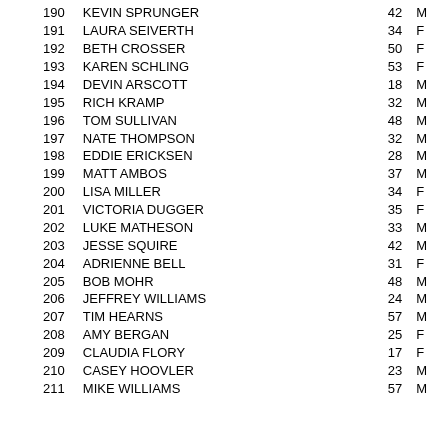| # | Name | Age | Sex |
| --- | --- | --- | --- |
| 190 | KEVIN SPRUNGER | 42 | M |
| 191 | LAURA SEIVERTH | 34 | F |
| 192 | BETH CROSSER | 50 | F |
| 193 | KAREN SCHLING | 53 | F |
| 194 | DEVIN ARSCOTT | 18 | M |
| 195 | RICH KRAMP | 32 | M |
| 196 | TOM SULLIVAN | 48 | M |
| 197 | NATE THOMPSON | 32 | M |
| 198 | EDDIE ERICKSEN | 28 | M |
| 199 | MATT AMBOS | 37 | M |
| 200 | LISA MILLER | 34 | F |
| 201 | VICTORIA DUGGER | 35 | F |
| 202 | LUKE MATHESON | 33 | M |
| 203 | JESSE SQUIRE | 42 | M |
| 204 | ADRIENNE BELL | 31 | F |
| 205 | BOB MOHR | 48 | M |
| 206 | JEFFREY WILLIAMS | 24 | M |
| 207 | TIM HEARNS | 57 | M |
| 208 | AMY BERGAN | 25 | F |
| 209 | CLAUDIA FLORY | 17 | F |
| 210 | CASEY HOOVLER | 23 | M |
| 211 | MIKE WILLIAMS | 57 | M |